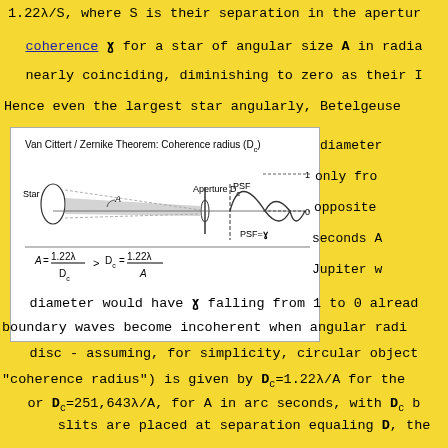1.22λ/S, where S is their separation in the apertu
coherence ɣ for a star of angular size A in radia
nearly coinciding, diminishing to zero as their I
Hence even the largest star angularly, Betelgeuse
[Figure (engineering-diagram): Van Cittert / Zernike Theorem diagram showing coherence radius Dc, with a star on the left, an aperture Dc in the middle, and a PSF on the right. Equations: A = 1.22λ/Dc > Dc = 1.22λ/A, PSF = ɣ]
diameter would have ɣ falling from 1 to 0 alread
boundary waves become incoherent when angular radi
disc - assuming, for simplicity, circular object
"coherence radius") is given by Dc=1.22λ/A for the
or Dc=251,643λ/A, for A in arc seconds, with Dc b
slits are placed at separation equaling D, the
disappear, which is how Michelson had determine
Betelgeuse, from Dc=3070mm for λ=0.00057mm). At th
averaged ɣ value, equals intensity averaged over t